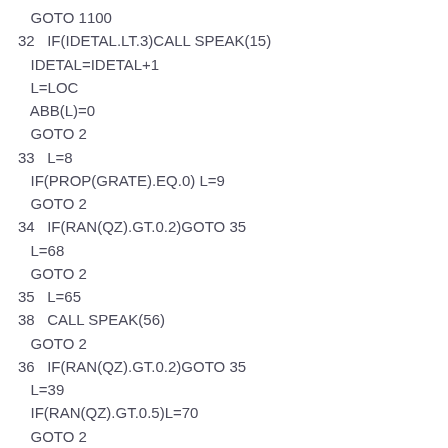GOTO 1100
32   IF(IDETAL.LT.3)CALL SPEAK(15)
   IDETAL=IDETAL+1
   L=LOC
   ABB(L)=0
   GOTO 2
33   L=8
   IF(PROP(GRATE).EQ.0) L=9
   GOTO 2
34   IF(RAN(QZ).GT.0.2)GOTO 35
   L=68
   GOTO 2
35   L=65
38   CALL SPEAK(56)
   GOTO 2
36   IF(RAN(QZ).GT.0.2)GOTO 35
   L=39
   IF(RAN(QZ).GT.0.5)L=70
   GOTO 2